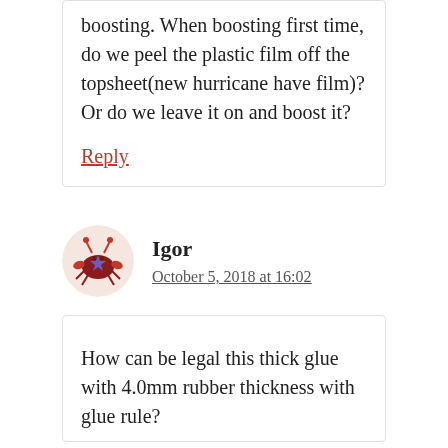boosting. When boosting first time, do we peel the plastic film off the topsheet(new hurricane have film)? Or do we leave it on and boost it?
Reply
[Figure (illustration): Cartoon avatar of a crab-like character with a star on its body, circular profile picture]
Igor
October 5, 2018 at 16:02
How can be legal this thick glue with 4.0mm rubber thickness with glue rule?